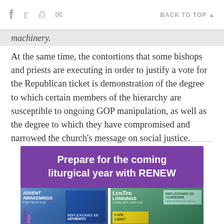f  [twitter] [print] [mail]   BACK TO TOP ▲
machinery.
At the same time, the contortions that some bishops and priests are executing in order to justify a vote for the Republican ticket is demonstration of the degree to which certain members of the hierarchy are susceptible to ongoing GOP manipulation, as well as the degree to which they have compromised and narrowed the church's message on social justice.
[Figure (illustration): Purple banner advertisement for RENEW International reading 'Prepare for the coming liturgical year with RENEW', followed by book cover images for Advent Awakenings, Reflexiones en Adviento, Lenten Longings, Reflexiones en Cuaresma, and Live Lent titles.]